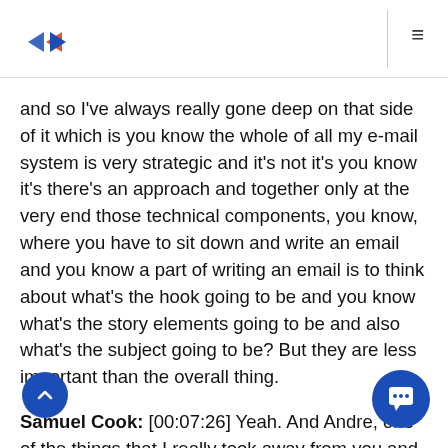[Logo and navigation bar]
and so I've always really gone deep on that side of it which is you know the whole of all my e-mail system is very strategic and it's not it's you know it's there's an approach and together only at the very end those technical components, you know, where you have to sit down and write an email and you know a part of writing an email is to think about what's the hook going to be and you know what's the story elements going to be and also what's the subject going to be? But they are less important than the overall thing.
Samuel Cook: [00:07:26] Yeah. And Andre, one of the things that I really took away from you and Autoresponder Madness was simply how much time you spent focusing on your avatar or, as I like to call your Hero, in terms of really putting the customer or the potential customer-many